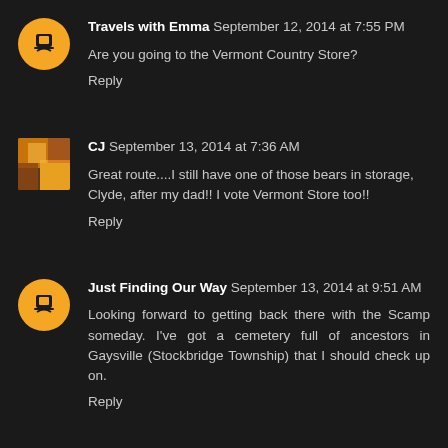Travels with Emma September 12, 2014 at 7:55 PM
Are you going to the Vermont Country Store?
Reply
CJ September 13, 2014 at 7:36 AM
Great route....I still have one of those bears in storage, Clyde, after my dad!! I vote Vermont Store too!!
Reply
Just Finding Our Way September 13, 2014 at 9:51 AM
Looking forward to getting back there with the Scamp someday. I've got a cemetery full of ancestors in Gaysville (Stockbridge Township) that I should check up on.
Reply